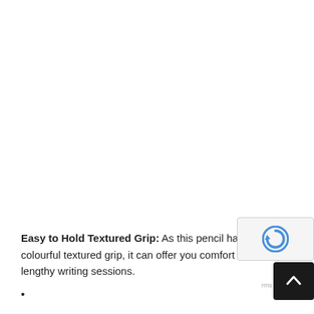Easy to Hold Textured Grip: As this pencil has a colourful textured grip, it can offer you comfort during lengthy writing sessions.
•